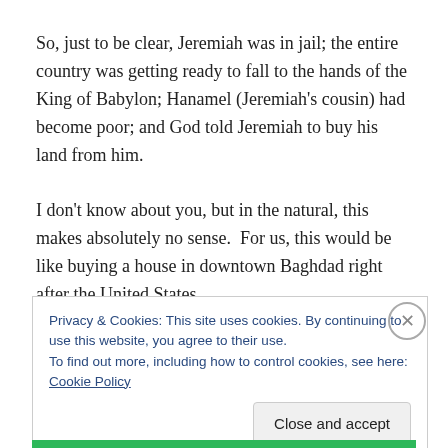So, just to be clear, Jeremiah was in jail; the entire country was getting ready to fall to the hands of the King of Babylon; Hanamel (Jeremiah's cousin) had become poor; and God told Jeremiah to buy his land from him.
I don't know about you, but in the natural, this makes absolutely no sense.  For us, this would be like buying a house in downtown Baghdad right after the United States
Privacy & Cookies: This site uses cookies. By continuing to use this website, you agree to their use.
To find out more, including how to control cookies, see here: Cookie Policy
Close and accept